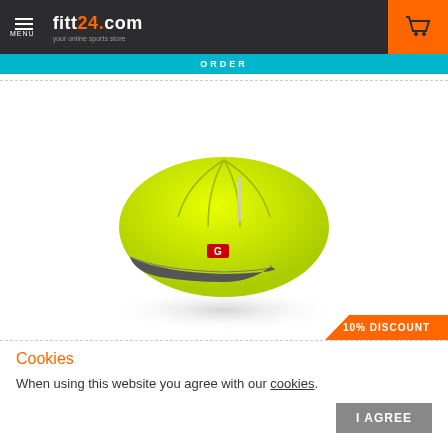fitt24.com
ORDER
[Figure (photo): Yellow/neon-green running cap with gray brim, G brand logo in red on front, reflective strip on top, cast shadow below. 10% DISCOUNT badge in orange at bottom right.]
Cookies
When using this website you agree with our cookies.
I AGREE